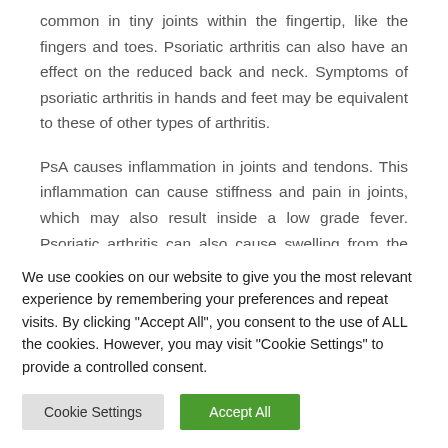common in tiny joints within the fingertip, like the fingers and toes. Psoriatic arthritis can also have an effect on the reduced back and neck. Symptoms of psoriatic arthritis in hands and feet may be equivalent to these of other types of arthritis.
PsA causes inflammation in joints and tendons. This inflammation can cause stiffness and pain in joints, which may also result inside a low grade fever. Psoriatic arthritis can also cause swelling from the tendons and ligaments
We use cookies on our website to give you the most relevant experience by remembering your preferences and repeat visits. By clicking "Accept All", you consent to the use of ALL the cookies. However, you may visit "Cookie Settings" to provide a controlled consent.